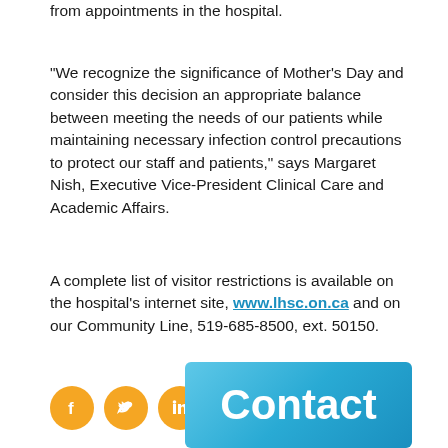from appointments in the hospital.
"We recognize the significance of Mother's Day and consider this decision an appropriate balance between meeting the needs of our patients while maintaining necessary infection control precautions to protect our staff and patients," says Margaret Nish, Executive Vice-President Clinical Care and Academic Affairs.
A complete list of visitor restrictions is available on the hospital's internet site, www.lhsc.on.ca and on our Community Line, 519-685-8500, ext. 50150.
[Figure (infographic): Three social media icons (Facebook, Twitter, LinkedIn) as orange circles with white symbols]
[Figure (other): Blue gradient box with white bold text reading 'Contact']